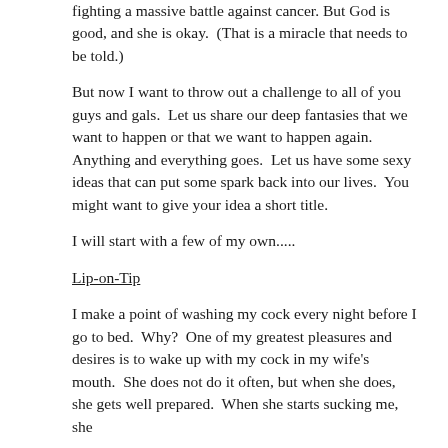fighting a massive battle against cancer. But God is good, and she is okay.  (That is a miracle that needs to be told.)
But now I want to throw out a challenge to all of you guys and gals.  Let us share our deep fantasies that we want to happen or that we want to happen again.  Anything and everything goes.  Let us have some sexy ideas that can put some spark back into our lives.  You might want to give your idea a short title.
I will start with a few of my own.....
Lip-on-Tip
I make a point of washing my cock every night before I go to bed.  Why?  One of my greatest pleasures and desires is to wake up with my cock in my wife's mouth.  She does not do it often, but when she does, she gets well prepared.  When she starts sucking me, she